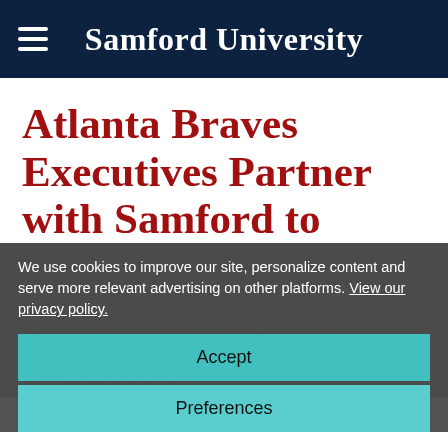Samford University
Atlanta Braves Executives Partner with Samford to Provide Mentorship Opportunities for Students
We use cookies to improve our site, personalize content and serve more relevant advertising on other platforms. View our privacy policy.
Accept
Preferences